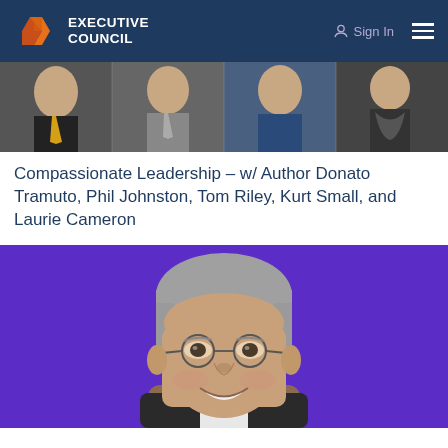EXECUTIVE COUNCIL — Sign In navigation
[Figure (photo): Cropped group photo strip showing five business professionals in grayscale and color]
Compassionate Leadership – w/ Author Donato Tramuto, Phil Johnston, Tom Riley, Kurt Small, and Laurie Cameron
[Figure (photo): Portrait of a smiling older man with glasses and grey hair against a bright purple background]